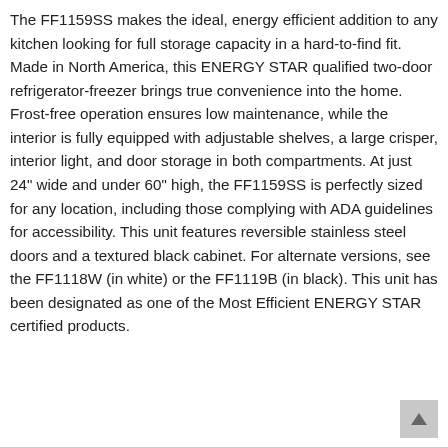The FF1159SS makes the ideal, energy efficient addition to any kitchen looking for full storage capacity in a hard-to-find fit. Made in North America, this ENERGY STAR qualified two-door refrigerator-freezer brings true convenience into the home. Frost-free operation ensures low maintenance, while the interior is fully equipped with adjustable shelves, a large crisper, interior light, and door storage in both compartments. At just 24" wide and under 60" high, the FF1159SS is perfectly sized for any location, including those complying with ADA guidelines for accessibility. This unit features reversible stainless steel doors and a textured black cabinet. For alternate versions, see the FF1118W (in white) or the FF1119B (in black). This unit has been designated as one of the Most Efficient ENERGY STAR certified products.